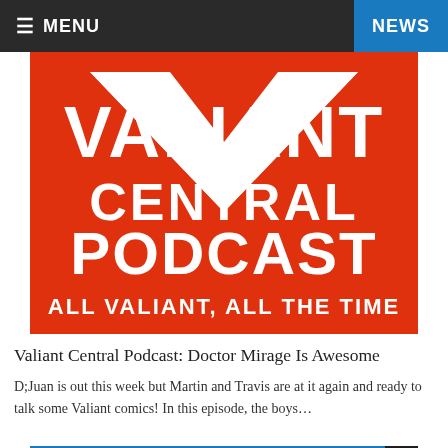≡ MENU | NEWS
[Figure (illustration): Valiant Central Podcast logo on red background with large white text reading VALIANT CENTRAL PODCAST and subtitle ALL VALIANT, ALL THE TIME]
Valiant Central Podcast: Doctor Mirage Is Awesome
D;Juan is out this week but Martin and Travis are at it again and ready to talk some Valiant comics! In this episode, the boys…
PODCASTS, VALIANT CENTRAL, VALIANT CENTRAL PODCAST, VALIANT PODCASTS
[Figure (illustration): Valiant Central Podcast logo partially visible at bottom of page, red background with white VALIANT text and ALL-COMIC.COM PRESENTS watermark]